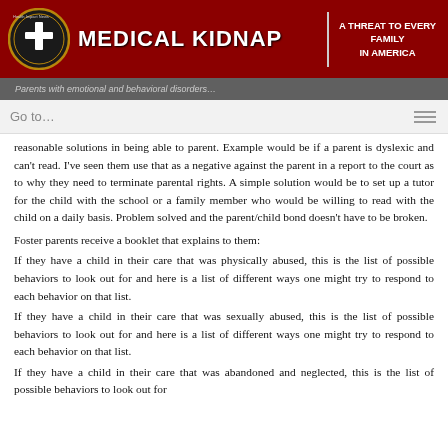MEDICAL KIDNAP | A THREAT TO EVERY FAMILY IN AMERICA
Go to...
reasonable solutions in being able to parent. Example would be if a parent is dyslexic and can't read. I've seen them use that as a negative against the parent in a report to the court as to why they need to terminate parental rights. A simple solution would be to set up a tutor for the child with the school or a family member who would be willing to read with the child on a daily basis. Problem solved and the parent/child bond doesn't have to be broken.
Foster parents receive a booklet that explains to them:
If they have a child in their care that was physically abused, this is the list of possible behaviors to look out for and here is a list of different ways one might try to respond to each behavior on that list.
If they have a child in their care that was sexually abused, this is the list of possible behaviors to look out for and here is a list of different ways one might try to respond to each behavior on that list.
If they have a child in their care that was abandoned and neglected, this is the list of possible behaviors to look out for